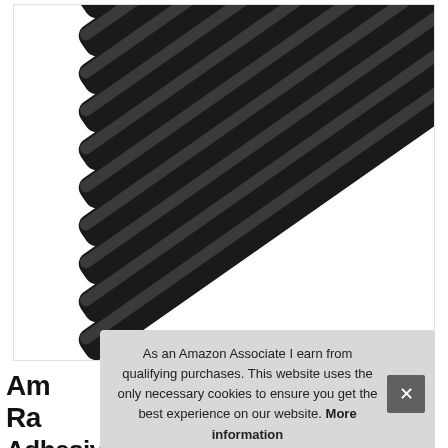[Figure (photo): Multiple black rubber or plastic channel/rail strips arranged diagonally from upper-right to lower-left, stacked in parallel on a white background]
As an Amazon Associate I earn from qualifying purchases. This website uses the only necessary cookies to ensure you get the best experience on our website. More information
Amazon Basics Rubber Adhesive Tape, 48 Inch, Black, 10 Pack